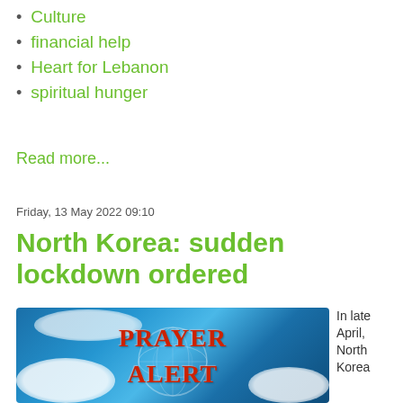Culture
financial help
Heart for Lebanon
spiritual hunger
Read more...
Friday, 13 May 2022 09:10
North Korea: sudden lockdown ordered
[Figure (photo): Prayer Alert graphic with red text on a blue sky and clouds background with globe/network imagery]
In late April, North Korea